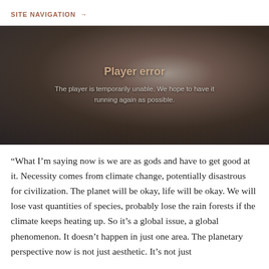SITE NAVIGATION →
[Figure (photo): Video player showing an elderly man with white hair, with a player error overlay message reading 'Player error. The player is temporarily unable. We hope to have it running again as possible.']
“What I’m saying now is we are as gods and have to get good at it. Necessity comes from climate change, potentially disastrous for civilization. The planet will be okay, life will be okay. We will lose vast quantities of species, probably lose the rain forests if the climate keeps heating up. So it’s a global issue, a global phenomenon. It doesn’t happen in just one area. The planetary perspective now is not just aesthetic. It’s not just